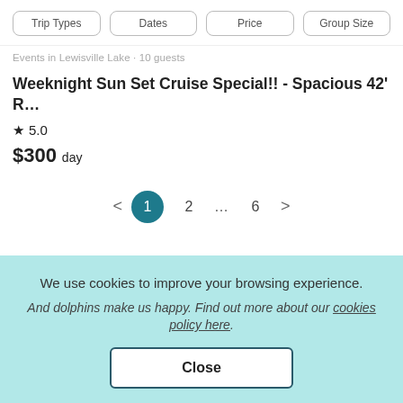Trip Types | Dates | Price | Group Size
Events in Lewisville Lake · 10 guests
Weeknight Sun Set Cruise Special!! - Spacious 42' R…
★ 5.0
$300 day
< 1 2 … 6 >
We use cookies to improve your browsing experience.
And dolphins make us happy. Find out more about our cookies policy here.
Close